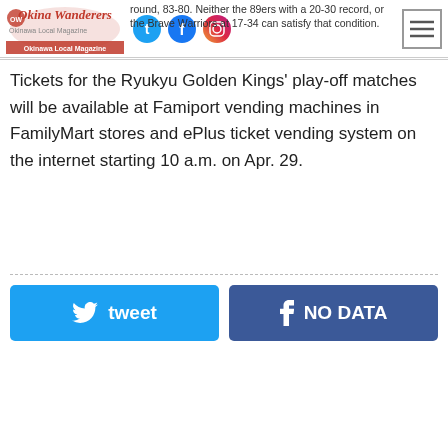Okinawa Wanderers – Okinawa Local Magazine (header with logo and social icons)
round, 83-80. Neither the 89ers with a 20-30 record, or the Brave Warriors at 17-34 can satisfy that condition.
Tickets for the Ryukyu Golden Kings' play-off matches will be available at Famiport vending machines in FamilyMart stores and ePlus ticket vending system on the internet starting 10 a.m. on Apr. 29.
tweet
NO DATA